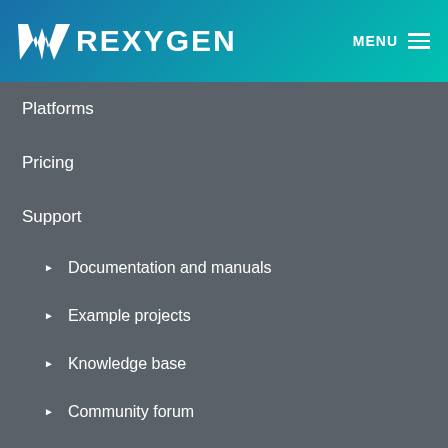W REXYGEN   MENU
Platforms
Pricing
Support
▶ Documentation and manuals
▶ Example projects
▶ Knowledge base
▶ Community forum
▶ Manage your licences
▶ Contact us
Contact
Phone